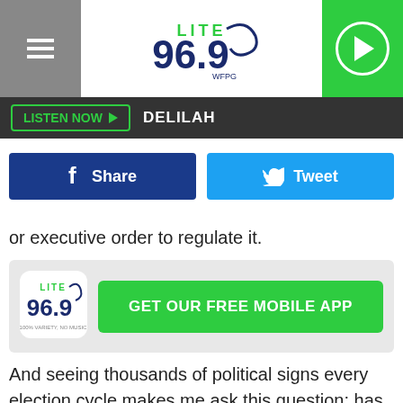[Figure (screenshot): Lite 96.9 WFPG radio station logo centered in header]
LISTEN NOW ▶ DELILAH
[Figure (screenshot): Facebook Share button (dark blue) and Twitter Tweet button (light blue)]
or executive order to regulate it.
[Figure (infographic): Lite 96.9 logo with green GET OUR FREE MOBILE APP button]
And seeing thousands of political signs every election cycle makes me ask this question: has anyone ever been moved to vote for someone based solely on a sign that is stuck in someone's yard? I'm guessing probably not.
The...